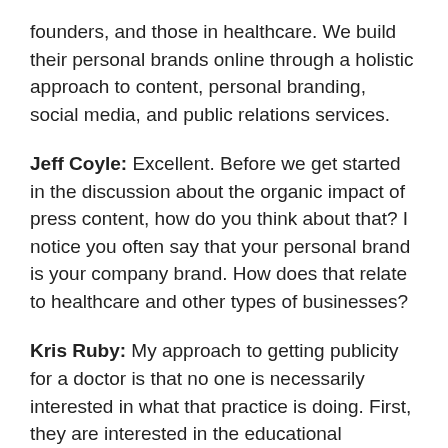founders, and those in healthcare. We build their personal brands online through a holistic approach to content, personal branding, social media, and public relations services.
Jeff Coyle: Excellent. Before we get started in the discussion about the organic impact of press content, how do you think about that? I notice you often say that your personal brand is your company brand. How does that relate to healthcare and other types of businesses?
Kris Ruby: My approach to getting publicity for a doctor is that no one is necessarily interested in what that practice is doing. First, they are interested in the educational component of what that doctor has to say first and foremost. My media philosophy follows the same core tenants. What can this expert share that is valuable to the audience?